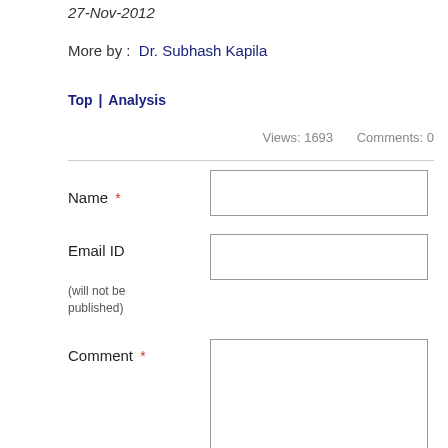27-Nov-2012
More by :  Dr. Subhash Kapila
Top | Analysis
Views: 1693     Comments: 0
Name *
Email ID
(will not be published)
Comment *